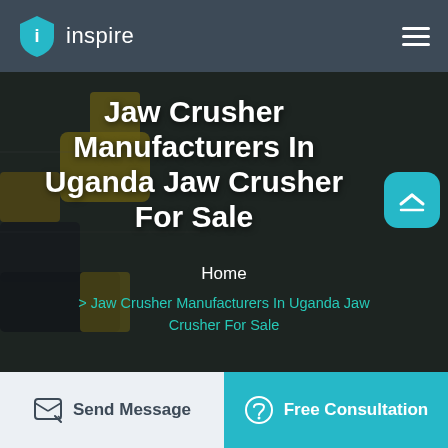inspire
Jaw Crusher Manufacturers In Uganda Jaw Crusher For Sale
Home
> Jaw Crusher Manufacturers In Uganda Jaw Crusher For Sale
Send Message | Free Consultation